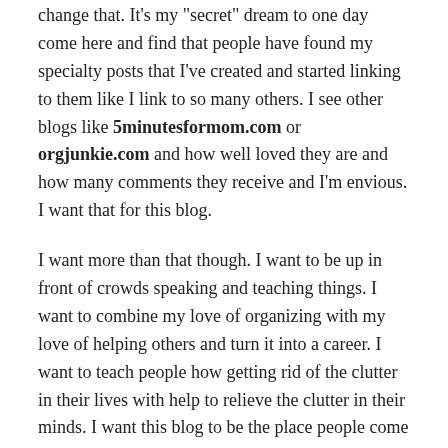change that. It's my "secret" dream to one day come here and find that people have found my specialty posts that I've created and started linking to them like I link to so many others. I see other blogs like 5minutesformom.com or orgjunkie.com and how well loved they are and how many comments they receive and I'm envious. I want that for this blog.
I want more than that though. I want to be up in front of crowds speaking and teaching things. I want to combine my love of organizing with my love of helping others and turn it into a career. I want to teach people how getting rid of the clutter in their lives with help to relieve the clutter in their minds. I want this blog to be the place people come when they need a tip on organizing or living a greener lifestyle. I want people to come here and laugh with me and cry with me and to feel as if they've found a new best friend.